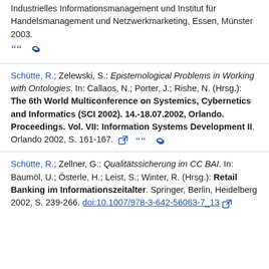Industrielles Informationsmanagement und Institut für Handelsmanagement und Netzwerkmarketing, Essen, Münster 2003.
Schütte, R.; Zelewski, S.: Epistemological Problems in Working with Ontologies. In: Callaos, N.; Porter, J.; Rishe, N. (Hrsg.): The 6th World Multiconference on Systemics, Cybernetics and Informatics (SCI 2002). 14.-18.07.2002, Orlando. Proceedings. Vol. VII: Information Systems Development II. Orlando 2002, S. 161-167.
Schütte, R.; Zellner, G.: Qualitätssicherung im CC BAI. In: Baumöl, U.; Österle, H.; Leist, S.; Winter, R. (Hrsg.): Retail Banking im Informationszeitalter. Springer, Berlin, Heidelberg 2002, S. 239-266. doi:10.1007/978-3-642-56063-7_13